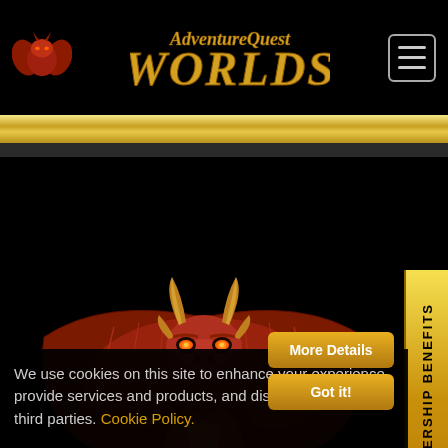[Figure (logo): AdventureQuest Worlds logo with red dragon head and golden text in the header]
[Figure (illustration): Large red/brown dragon with spread wings and glowing eyes, the AQW mascot logo in the center of the page on black background]
We use cookies on this site to enhance your experience, provide services and products, and display content from third parties. Cookie Policy.